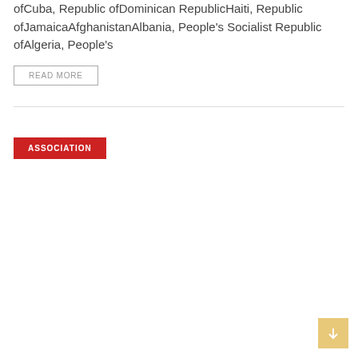ofCuba, Republic ofDominican RepublicHaiti, Republic ofJamaicaAfghanistanAlbania, People's Socialist Republic ofAlgeria, People's ...
READ MORE
ASSOCIATION